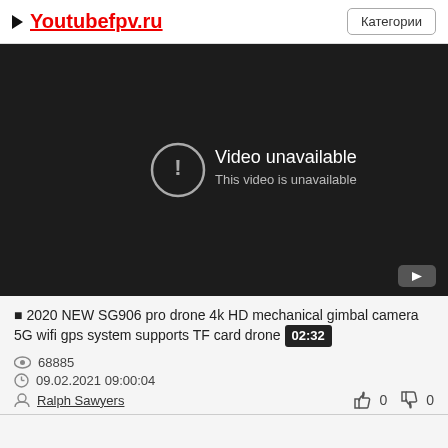▶ Youtubefpv.ru  Категории
[Figure (screenshot): Embedded YouTube video player showing 'Video unavailable / This video is unavailable' error message on dark background with YouTube logo in bottom right corner]
■ 2020 NEW SG906 pro drone 4k HD mechanical gimbal camera 5G wifi gps system supports TF card drone 02:32
68885
09.02.2021 09:00:04
Ralph Sawyers
0  0